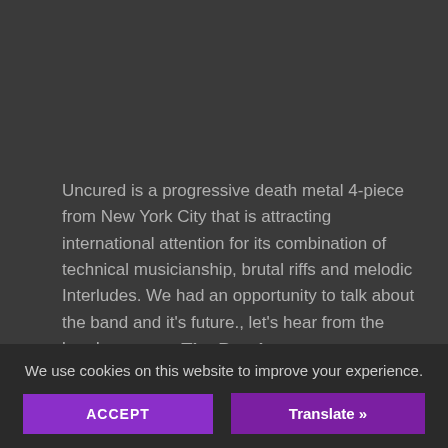Uncured is a progressive death metal 4-piece from New York City that is attracting international attention for its combination of technical musicianship, brutal riffs and melodic Interludes. We had an opportunity to talk about the band and it's future., let's hear from the band.
The Band:
Rex Cox – Bass, Guitars and Vocals
We use cookies on this website to improve your experience.